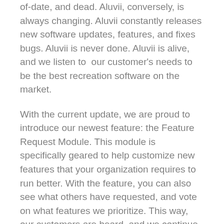of-date, and dead. Aluvii, conversely, is always changing. Aluvii constantly releases new software updates, features, and fixes bugs. Aluvii is never done. Aluvii is alive, and we listen to  our customer's needs to be the best recreation software on the market.
With the current update, we are proud to introduce our newest feature: the Feature Request Module. This module is specifically geared to help customize new features that your organization requires to run better. With the feature, you can also see what others have requested, and vote on what features we prioritize. This way, our customers are heard, and we continue to get better.
Conclusion
...